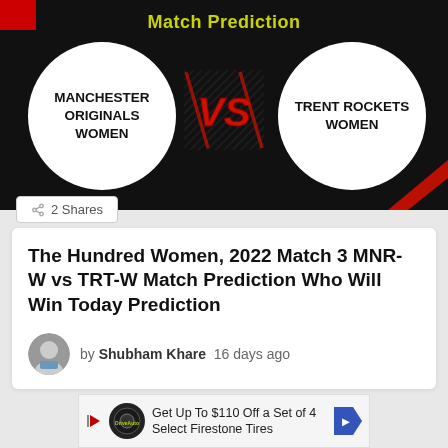[Figure (infographic): Match Prediction banner showing Manchester Originals Women vs Trent Rockets Women with VS graphic on black background]
2 Shares
The Hundred Women, 2022 Match 3 MNR-W vs TRT-W Match Prediction Who Will Win Today Prediction
by Shubham Khare  16 days ago
Get Up To $110 Off a Set of 4 Select Firestone Tires